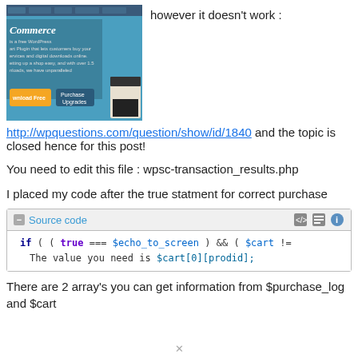[Figure (screenshot): Screenshot of WooCommerce WordPress plugin homepage with navigation bar and promotional text about free WordPress cart plugin]
however it doesn't work :
http://wpquestions.com/question/show/id/1840 and the topic is closed hence for this post!
You need to edit this file : wpsc-transaction_results.php
I placed my code after the true statment for correct purchase
[Figure (screenshot): Source code box with PHP code: if ( ( true === $echo_to_screen ) && ( $cart != ... The value you need is $cart[0][prodid];]
There are 2 array's you can get information from $purchase_log and $cart